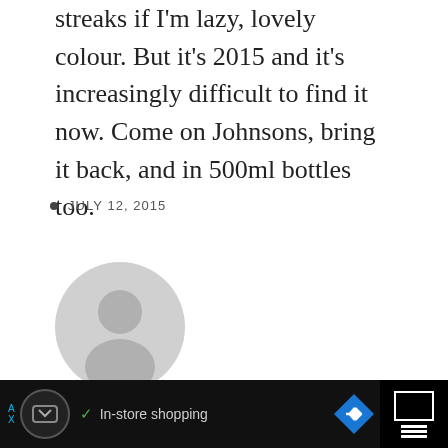streaks if I'm lazy, lovely colour. But it's 2015 and it's increasingly difficult to find it now. Come on Johnsons, bring it back, and in 500ml bottles too.
JULY 12, 2015
[Figure (illustration): Generic user avatar: grey circle with silhouette of a person (head and shoulders), light grey background circle]
Sandra Humphries
Ad • In-store shopping